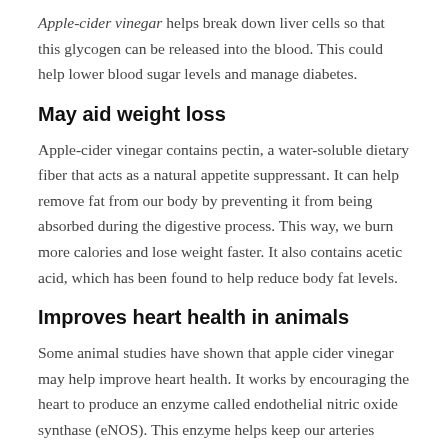Apple-cider vinegar helps break down liver cells so that this glycogen can be released into the blood. This could help lower blood sugar levels and manage diabetes.
May aid weight loss
Apple-cider vinegar contains pectin, a water-soluble dietary fiber that acts as a natural appetite suppressant. It can help remove fat from our body by preventing it from being absorbed during the digestive process. This way, we burn more calories and lose weight faster. It also contains acetic acid, which has been found to help reduce body fat levels.
Improves heart health in animals
Some animal studies have shown that apple cider vinegar may help improve heart health. It works by encouraging the heart to produce an enzyme called endothelial nitric oxide synthase (eNOS). This enzyme helps keep our arteries healthy and dilated